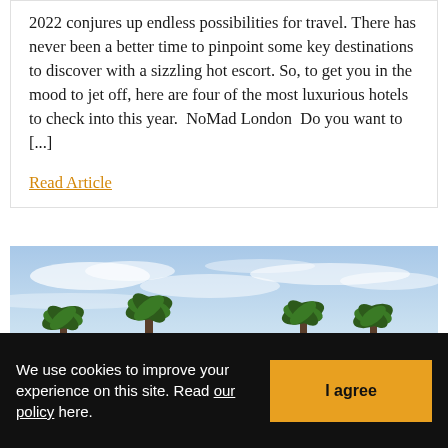2022 conjures up endless possibilities for travel. There has never been a better time to pinpoint some key destinations to discover with a sizzling hot escort. So, to get you in the mood to jet off, here are four of the most luxurious hotels to check into this year.  NoMad London  Do you want to [...]
Read Article
[Figure (photo): Outdoor scene with palm trees against a blue sky with wispy clouds]
We use cookies to improve your experience on this site. Read our policy here.